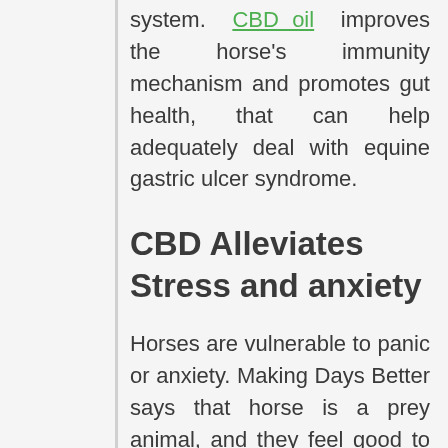system. CBD oil improves the horse's immunity mechanism and promotes gut health, that can help adequately deal with equine gastric ulcer syndrome.
CBD Alleviates Stress and anxiety
Horses are vulnerable to panic or anxiety. Making Days Better says that horse is a prey animal, and they feel good to join a group with many other horses.